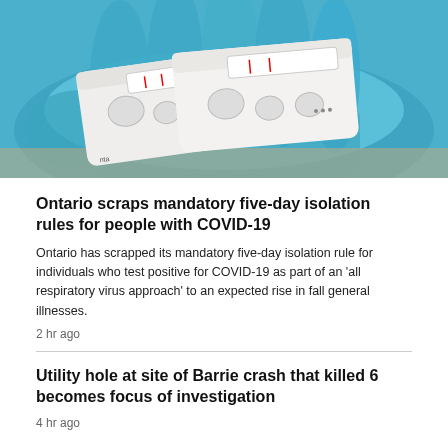[Figure (photo): Close-up photo of two Abbott COVID-19 rapid antigen test kits held in a blue-gloved hand on a light wooden surface.]
Ontario scraps mandatory five-day isolation rules for people with COVID-19
Ontario has scrapped its mandatory five-day isolation rule for individuals who test positive for COVID-19 as part of an 'all respiratory virus approach' to an expected rise in fall general illnesses.
2 hr ago
Utility hole at site of Barrie crash that killed 6 becomes focus of investigation
4 hr ago